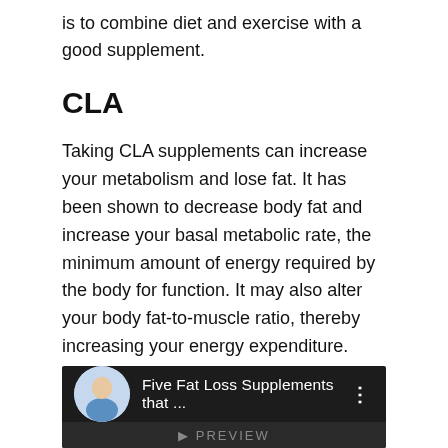is to combine diet and exercise with a good supplement.
CLA
Taking CLA supplements can increase your metabolism and lose fat. It has been shown to decrease body fat and increase your basal metabolic rate, the minimum amount of energy required by the body for function. It may also alter your body fat-to-muscle ratio, thereby increasing your energy expenditure. This article will discuss some of the benefits of CLA for weight loss. We will also discuss some of the downsides of consuming too much CLA.
Forskolin extract
[Figure (screenshot): YouTube video thumbnail showing a person with text 'Five Fat Loss Supplements that ...' and a three-dot menu icon on a dark background]